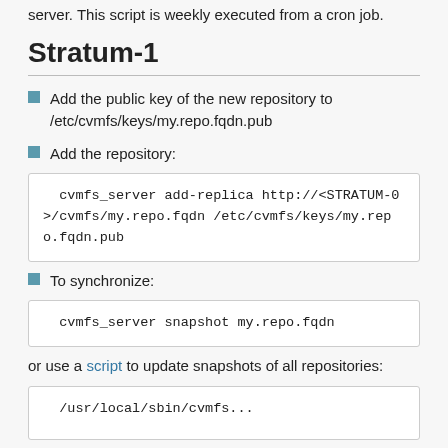server. This script is weekly executed from a cron job.
Stratum-1
Add the public key of the new repository to /etc/cvmfs/keys/my.repo.fqdn.pub
Add the repository:
cvmfs_server add-replica http://<STRATUM-0>/cvmfs/my.repo.fqdn /etc/cvmfs/keys/my.repo.fqdn.pub
To synchronize:
cvmfs_server snapshot my.repo.fqdn
or use a script to update snapshots of all repositories:
/usr/local/sbin/cvmfs...